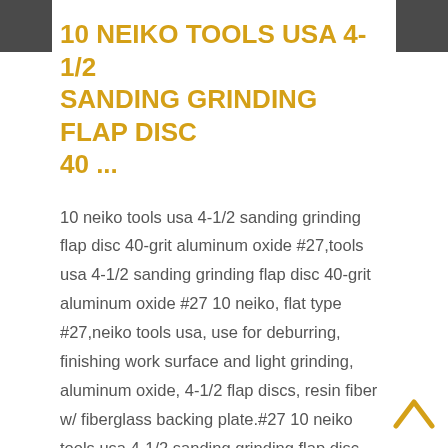10 NEIKO TOOLS USA 4-1/2 SANDING GRINDING FLAP DISC 40 ...
10 neiko tools usa 4-1/2 sanding grinding flap disc 40-grit aluminum oxide #27,tools usa 4-1/2 sanding grinding flap disc 40-grit aluminum oxide #27 10 neiko, flat type #27,neiko tools usa, use for deburring, finishing work surface and light grinding, aluminum oxide, 4-1/2 flap discs, resin fiber w/ fiberglass backing plate.#27 10 neiko tools usa 4-1/2 sanding grinding flap disc